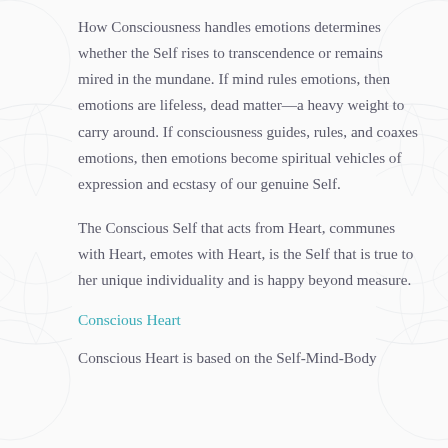How Consciousness handles emotions determines whether the Self rises to transcendence or remains mired in the mundane. If mind rules emotions, then emotions are lifeless, dead matter—a heavy weight to carry around. If consciousness guides, rules, and coaxes emotions, then emotions become spiritual vehicles of expression and ecstasy of our genuine Self.
The Conscious Self that acts from Heart, communes with Heart, emotes with Heart, is the Self that is true to her unique individuality and is happy beyond measure.
Conscious Heart
Conscious Heart is based on the Self-Mind-Body